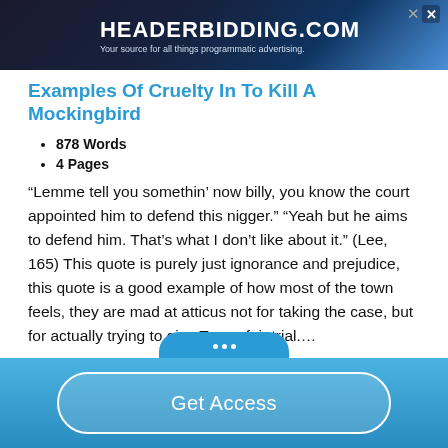[Figure (screenshot): HeaderBidding.com advertisement banner with blue gradient background]
Examples Of Cruelty In To Kill A Mockingbird
878 Words
4 Pages
“Lemme tell you somethin’ now billy, you know the court appointed him to defend this nigger.” “Yeah but he aims to defend him. That’s what I don’t like about it.” (Lee, 165) This quote is purely just ignorance and prejudice, this quote is a good example of how most of the town feels, they are mad at atticus not for taking the case, but for actually trying to give Tom a fair trial.…
Get Access